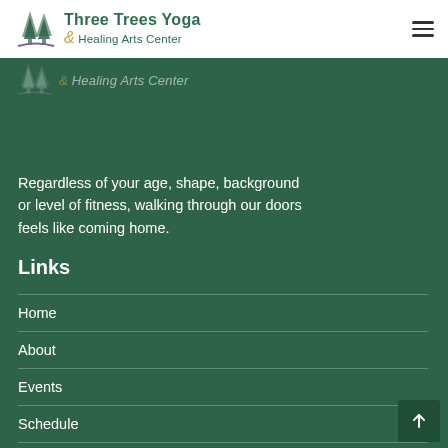Three Trees Yoga & Healing Arts Center
[Figure (logo): Three Trees Yoga & Healing Arts Center logo with tree illustration and text, repeated faintly in green section]
Regardless of your age, shape, background or level of fitness, walking through our doors feels like coming home.
Links
Home
About
Events
Schedule
Contact
Contact